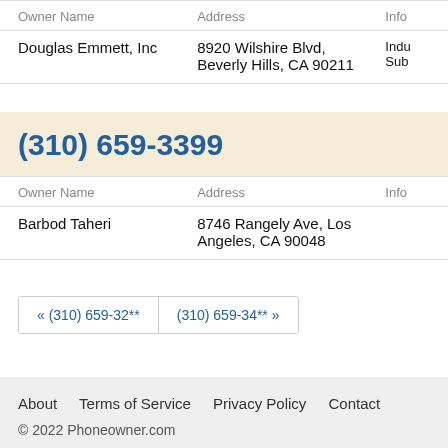| Owner Name | Address | Info |
| --- | --- | --- |
| Douglas Emmett, Inc | 8920 Wilshire Blvd, Beverly Hills, CA 90211 | Indu Sub |
(310) 659-3399
| Owner Name | Address | Info |
| --- | --- | --- |
| Barbod Taheri | 8746 Rangely Ave, Los Angeles, CA 90048 |  |
« (310) 659-32**   (310) 659-34** »
About   Terms of Service   Privacy Policy   Contact
© 2022 Phoneowner.com